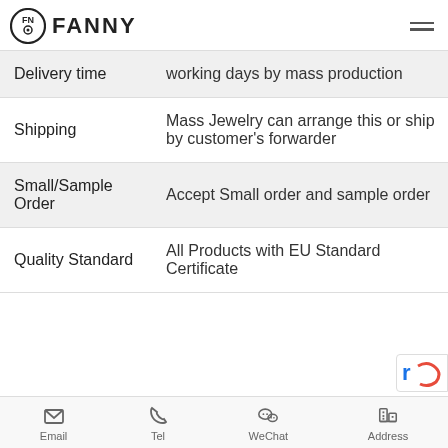FANNY
| Category | Details |
| --- | --- |
| Delivery time | working days by mass production |
| Shipping | Mass Jewelry can arrange this or ship by customer's forwarder |
| Small/Sample Order | Accept Small order and sample order |
| Quality Standard | All Products with EU Standard Certificate |
Email  Tel  WeChat  Address